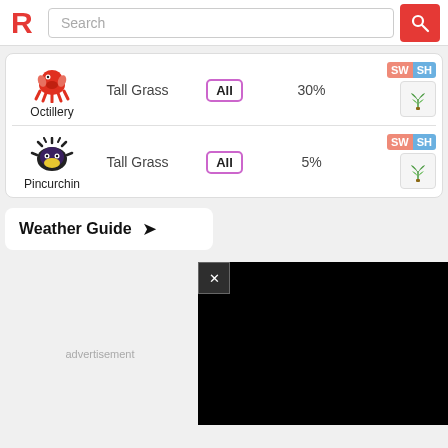[Figure (screenshot): Website header with red R logo, search bar, and red search button]
| Pokemon | Location | Level | Rate | Versions | Icon |
| --- | --- | --- | --- | --- | --- |
| Octillery | Tall Grass | All | 30% | SW SH | grass icon |
| Pincurchin | Tall Grass | All | 5% | SW SH | grass icon |
Weather Guide →
[Figure (screenshot): Black video/ad overlay with close X button]
advertisement